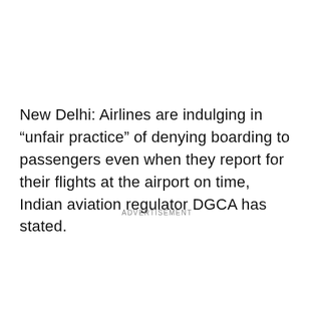New Delhi: Airlines are indulging in "unfair practice" of denying boarding to passengers even when they report for their flights at the airport on time, Indian aviation regulator DGCA has stated.
ADVERTISEMENT